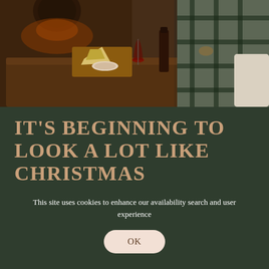[Figure (photo): Cozy interior scene showing a rustic wooden table with wine, cheese board, glasses and food items; a lit fireplace/stove visible in background upper left; a sofa with plaid blanket on the right side.]
IT'S BEGINNING TO LOOK A LOT LIKE CHRISTMAS
SEPTEMBER 24TH, 2018    MORZINE
This site uses cookies to enhance our availability search and user experience
OK